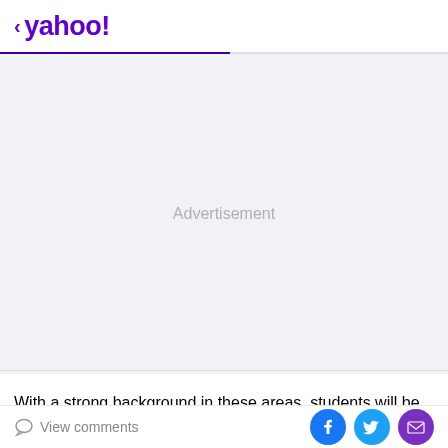< yahoo!
[Figure (other): Advertisement placeholder area with light gray background and centered 'Advertisement' label]
With a strong background in these areas, students will be
View comments | Share on Facebook | Share on Twitter | Share via Email